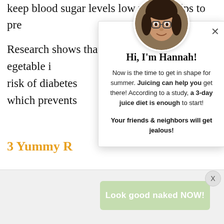keep blood sugar levels low which helps to pre...
Research shows that hig... egetable i... risk of diabetes... which prevents...
3 Yummy R...
Now that you k... difficult to conv... delicious pear j...
[Figure (photo): Popup overlay featuring a circular profile photo of a woman with glasses (Hannah), with text: Hi, I'm Hannah! Now is the time to get in shape for summer. Juicing can help you get there! According to a study, a 3-day juice diet is enough to start! Your friends & neighbors will get jealous!]
Look good naked NOW!